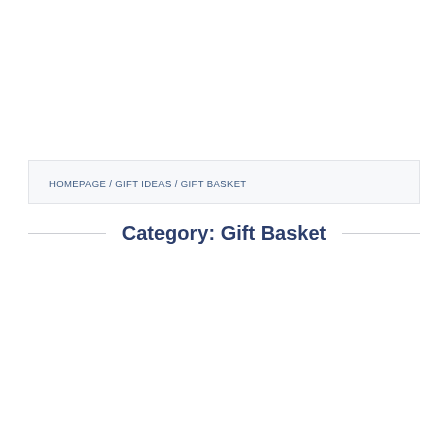HOMEPAGE / GIFT IDEAS / GIFT BASKET
Category: Gift Basket